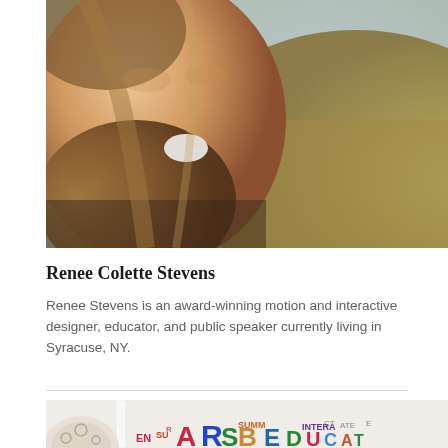[Figure (photo): Close-up portrait photo of a smiling woman with blonde/light brown hair, laughing outdoors with a sunny field and sky in the background]
Renee Colette Stevens
Renee Stevens is an award-winning motion and interactive designer, educator, and public speaker currently living in Syracuse, NY.
[Figure (photo): Partial view of a room or display with colorful typographic art/poster showing large colorful letters, partially visible at bottom of page]